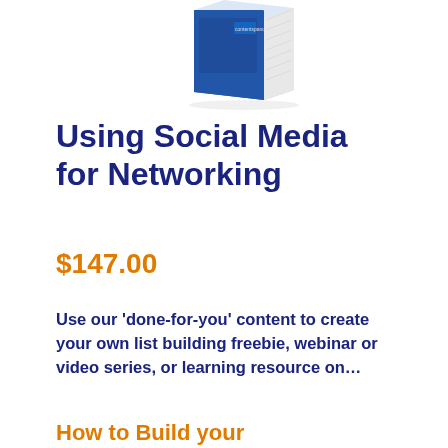[Figure (photo): 3D book product image with blue cover and 'contentspanda' branding]
Using Social Media for Networking
$147.00
Use our ‘done-for-you’ content to create your own list building freebie, webinar or video series, or learning resource on…
How to Build your